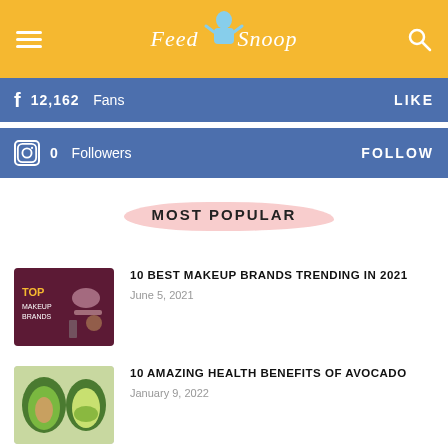Feed Snoop
12,162 Fans LIKE
0 Followers FOLLOW
MOST POPULAR
10 BEST MAKEUP BRANDS TRENDING IN 2021
June 5, 2021
10 AMAZING HEALTH BENEFITS OF AVOCADO
January 9, 2022
WINTER SKIN CARE TIPS FOR BRIGHTER SKIN